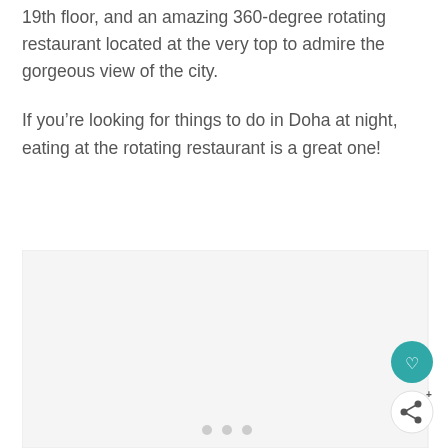19th floor, and an amazing 360-degree rotating restaurant located at the very top to admire the gorgeous view of the city.
If you’re looking for things to do in Doha at night, eating at the rotating restaurant is a great one!
[Figure (photo): A light gray placeholder image area representing a photo, with three small gray dots at the bottom center indicating an image carousel, and circular action buttons (heart/favorite and share) in the lower right corner.]